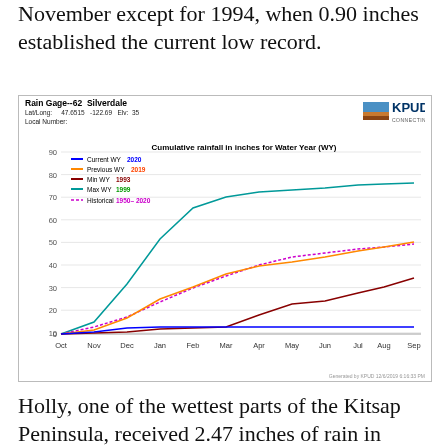November except for 1994, when 0.90 inches established the current low record.
[Figure (line-chart): Rain Gage-62 Silverdale, Lat/Long 47.6515 -122.69 Elv: 35. Multi-line cumulative rainfall chart showing Current WY 2020, Previous WY 2019, Min WY 1993, Max WY 1999, Historical 1950-2020. Max WY peaks near 77 inches by Sep, Historical ~49 inches, Previous WY ~38 inches, Min WY ~25 inches, Current WY ~4 inches.]
Holly, one of the wettest parts of the Kitsap Peninsula, received 2.47 inches of rain in November